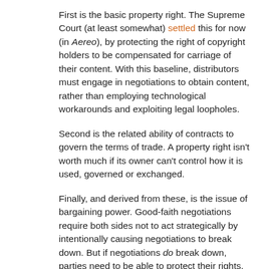First is the basic property right. The Supreme Court (at least somewhat) settled this for now (in Aereo), by protecting the right of copyright holders to be compensated for carriage of their content. With this baseline, distributors must engage in negotiations to obtain content, rather than employing technological workarounds and exploiting legal loopholes.
Second is the related ability of contracts to govern the terms of trade. A property right isn't worth much if its owner can't control how it is used, governed or exchanged.
Finally, and derived from these, is the issue of bargaining power. Good-faith negotiations require both sides not to act strategically by intentionally causing negotiations to break down. But if negotiations do break down, parties need to be able to protect their rights. When content owners are not able to withhold content in carriage disputes, they are put in an untenable bargaining position. This invites bad faith negotiations by distributors.
The STAVRA/Local Choice proposal would undermine the property rights and freedom of contract that bring The Bachelor to your TV, and the proposed bill does real damage by curtailing the scope of the property right in TV programming and restricting the range of contracts available for networks to...